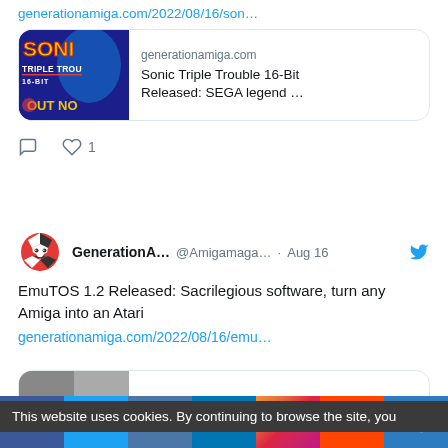generationamiga.com/2022/08/16/son…
[Figure (screenshot): Link preview card for Sonic Triple Trouble 16-Bit article on generationamiga.com, showing Sonic game cover art thumbnail and article title]
1 like
[Figure (photo): GenerationAmiga profile avatar - checkered ball character with eyes]
GenerationA… @Amigamaga… · Aug 16 — EmuTOS 1.2 Released: Sacrilegious software, turn any Amiga into an Atari — generationamiga.com/2022/08/16/emu…
Top 5 articles daily
This website uses cookies. By continuing to browse the site, you